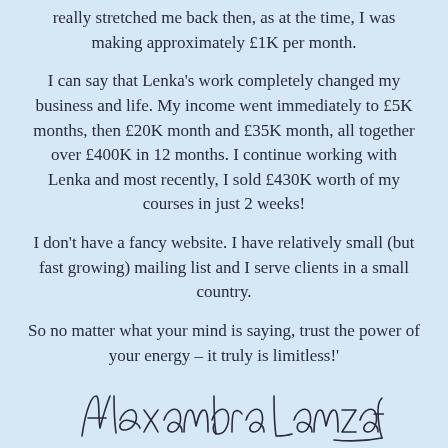really stretched me back then, as at the time, I was making approximately £1K per month.
I can say that Lenka's work completely changed my business and life. My income went immediately to £5K months, then £20K month and £35K month, all together over £400K in 12 months. I continue working with Lenka and most recently, I sold £430K worth of my courses in just 2 weeks!
I don't have a fancy website. I have relatively small (but fast growing) mailing list and I serve clients in a small country.
So no matter what your mind is saying, trust the power of your energy – it truly is limitless!'
[Figure (illustration): Handwritten cursive signature reading 'Alexandra Lanzafame']